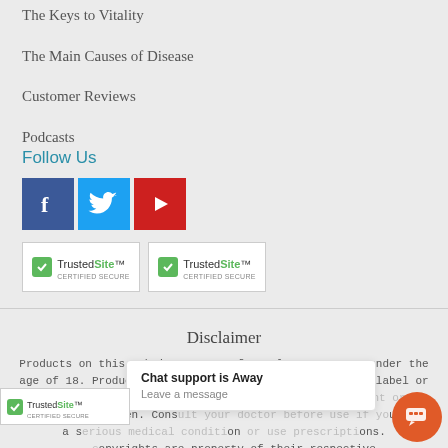The Keys to Vitality
The Main Causes of Disease
Customer Reviews
Podcasts
Follow Us
[Figure (logo): Social media icons: Facebook (blue), Twitter (light blue), YouTube (red)]
[Figure (logo): TrustedSite Certified Secure badge (two instances)]
Disclaimer
Products on this website are not for sale to persons under the age of 18. Products should be used as directed on the label or by your health profe... nursing women. Cons... a s... ons. ...opyrights are property of their respective
[Figure (screenshot): Chat support overlay reading 'Chat support is Away / Leave a message' with TrustedSite badge and orange chat button]